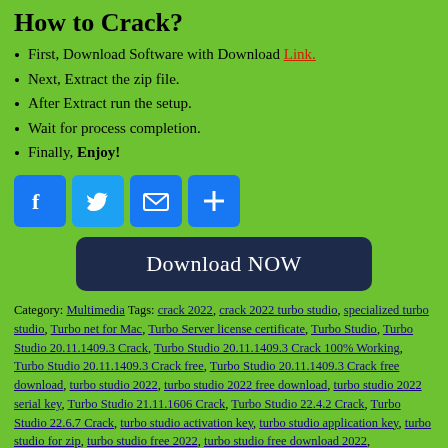How to Crack?
First, Download Software with Download Link.
Next, Extract the zip file.
After Extract run the setup.
Wait for process completion.
Finally, Enjoy!
[Figure (infographic): Social share buttons: Facebook, Twitter, Email, Add (plus)]
Download NOW
Category: Multimedia Tags: crack 2022, crack 2022 turbo studio, specialized turbo studio, Turbo net for Mac, Turbo Server license certificate, Turbo Studio, Turbo Studio 20.11.1409.3 Crack, Turbo Studio 20.11.1409.3 Crack 100% Working, Turbo Studio 20.11.1409.3 Crack free, Turbo Studio 20.11.1409.3 Crack free download, turbo studio 2022, turbo studio 2022 free download, turbo studio 2022 serial key, Turbo Studio 21.11.1606 Crack, Turbo Studio 22.4.2 Crack, Turbo Studio 22.6.7 Crack, turbo studio activation key, turbo studio application key, turbo studio for zip, turbo studio free 2022, turbo studio free download 2022,